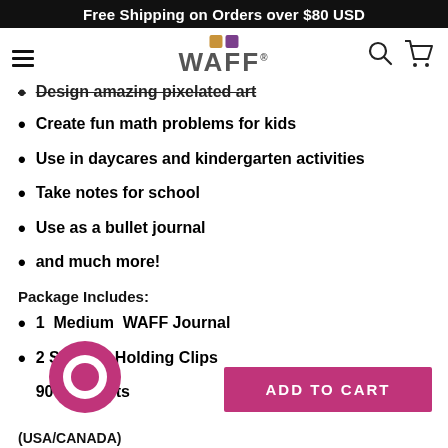Free Shipping on Orders over $80 USD
[Figure (logo): WAFF logo with two colored squares (tan and purple) above the word WAFF with registered trademark symbol]
Design amazing pixelated art
Create fun math problems for kids
Use in daycares and kindergarten activities
Take notes for school
Use as a bullet journal
and much more!
Package Includes:
1  Medium  WAFF Journal
2 Silicone Holding Clips
90 Mini Dots
(USA/CANADA)